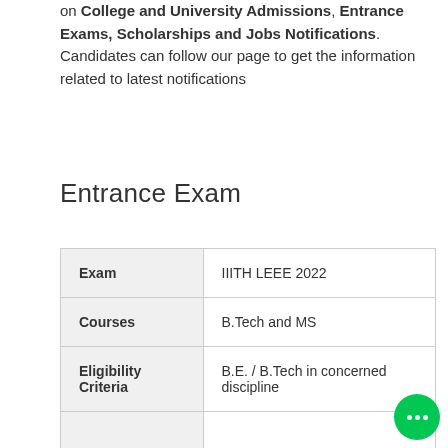on College and University Admissions, Entrance Exams, Scholarships and Jobs Notifications. Candidates can follow our page to get the information related to latest notifications
Entrance Exam
| Exam | IIITH LEEE 2022 |
| Courses | B.Tech and MS |
| Eligibility Criteria | B.E. / B.Tech in concerned discipline |